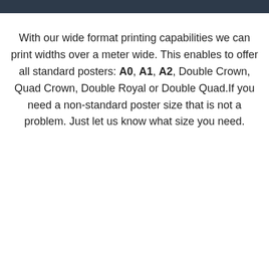With our wide format printing capabilities we can print widths over a meter wide. This enables to offer all standard posters: A0, A1, A2, Double Crown, Quad Crown, Double Royal or Double Quad.If you need a non-standard poster size that is not a problem. Just let us know what size you need.